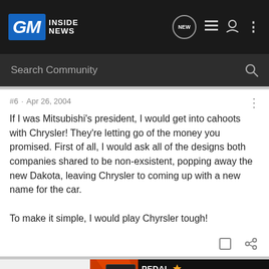GM Inside News
Search Community
#6 · Apr 26, 2004
If I was Mitsubishi's president, I would get into cahoots with Chrysler! They're letting go of the money you promised. First of all, I would ask all of the designs both companies shared to be non-exsistent, popping away the new Dakota, leaving Chrysler to coming up with a new name for the car.

To make it simple, I would play Chyrsler tough!
1 - 6 of 6
[Figure (screenshot): Pedal Commander advertisement banner]